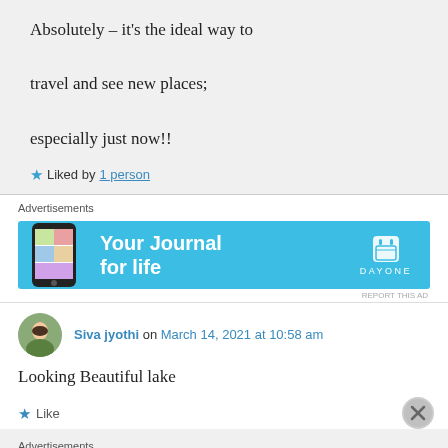Absolutely – it's the ideal way to travel and see new places; especially just now!!
★ Liked by 1 person
Advertisements
[Figure (screenshot): Day One app advertisement banner: blue background with phone image, text 'Your Journal for life' and Day One logo]
Siva jyothi on March 14, 2021 at 10:58 am
Looking Beautiful lake
★ Like
Advertisements